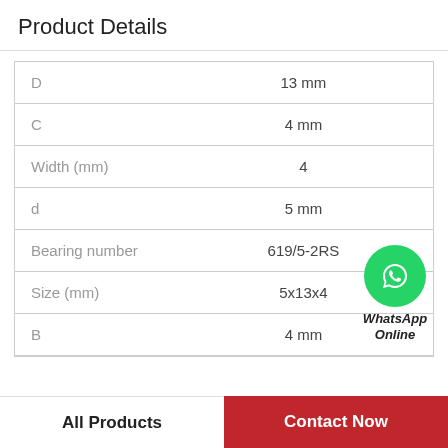Product Details
| Property | Value |
| --- | --- |
| D | 13 mm |
| C | 4 mm |
| Width (mm) | 4 |
| d | 5 mm |
| Bearing number | 619/5-2RS |
| Size (mm) | 5x13x4 |
| B | 4 mm |
[Figure (logo): WhatsApp Online green circle icon with phone receiver, labeled WhatsApp Online]
All Products
Contact Now